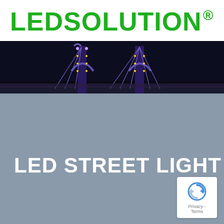[Figure (logo): LEDSOLUTION® logo in bold green text]
[Figure (photo): Nighttime photo of an illuminated bridge with blue and yellow LED lights against a dark sky, transitioning to a grey background]
LED STREET LIGHT
[Figure (logo): reCAPTCHA badge with circular arrow icon and Privacy - Terms text]